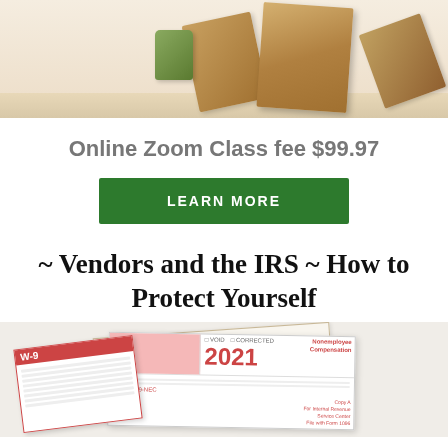[Figure (photo): Photo of cardboard moving boxes and a green canister on a light floor against a light wall]
Online Zoom Class fee $99.97
LEARN MORE
~ Vendors and the IRS ~ How to Protect Yourself
[Figure (photo): IRS tax forms including W-9 and 1099-NEC forms scattered overlapping each other]